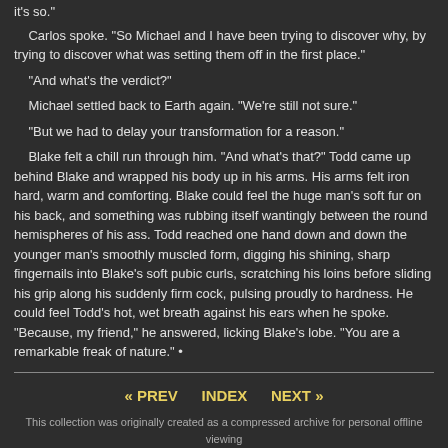it's so."
Carlos spoke. "So Michael and I have been trying to discover why, by trying to discover what was setting them off in the first place."
"And what's the verdict?"
Michael settled back to Earth again. "We're still not sure."
"But we had to delay your transformation for a reason."
Blake felt a chill run through him. "And what's that?" Todd came up behind Blake and wrapped his body up in his arms. His arms felt iron hard, warm and comforting. Blake could feel the huge man's soft fur on his back, and something was rubbing itself wantingly between the round hemispheres of his ass. Todd reached one hand down and down the younger man's smoothly muscled form, digging his shining, sharp fingernails into Blake's soft pubic curls, scratching his loins before sliding his grip along his suddenly firm cock, pulsing proudly to hardness. He could feel Todd's hot, wet breath against his ears when he spoke. "Because, my friend," he answered, licking Blake's lobe. "You are a remarkable freak of nature." •
« PREV   INDEX   NEXT »
This collection was originally created as a compressed archive for personal offline viewing
and is not intended to be hosted online or presented in any commercial context.

Any webmaster choosing to host or mirror this archive online
does so at their sole discretion.

Archive Version 070326